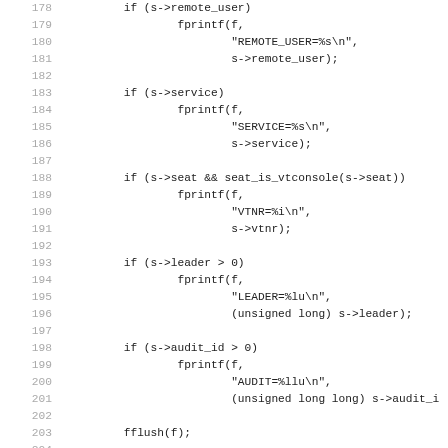[Figure (screenshot): Source code snippet in C showing conditional fprintf statements for session properties including remote_user, service, seat/vtconsole, leader, audit_id, followed by fflush and error handling with ferror, rename, unlink calls. Line numbers 178-210 visible.]